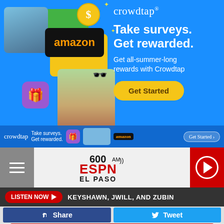[Figure (infographic): Crowdtap advertisement: blue background with photos of people, Amazon gift card, gift icon, coin, and sunglasses. Right side shows brand name 'crowdtap', headline 'Take surveys. Get rewarded.', subtext 'Get all-summer-long rewards with Crowdtap', and a yellow 'Get Started' button. Bottom strip shows crowdtap branding, 'Take surveys. Get rewarded.', gift icon, photo, Amazon card, and 'Get Started >' button.]
[Figure (screenshot): 600 ESPN El Paso radio station navigation bar with hamburger menu on left, ESPN 600 AM El Paso logo in center, and red play button on right.]
LISTEN NOW  KEYSHAWN, JWILL, AND ZUBIN
f Share   Tweet
[Figure (infographic): DC Health advertisement: red background with image of people, text 'Text LiveLongDC to 888-811 to find naloxone near you.' with QR code and logos.]